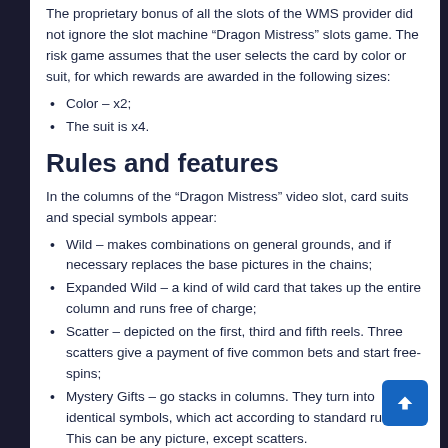The proprietary bonus of all the slots of the WMS provider did not ignore the slot machine “Dragon Mistress” slots game. The risk game assumes that the user selects the card by color or suit, for which rewards are awarded in the following sizes:
Color – x2;
The suit is x4.
Rules and features
In the columns of the “Dragon Mistress” video slot, card suits and special symbols appear:
Wild – makes combinations on general grounds, and if necessary replaces the base pictures in the chains;
Expanded Wild – a kind of wild card that takes up the entire column and runs free of charge;
Scatter – depicted on the first, third and fifth reels. Three scatters give a payment of five common bets and start free-spins;
Mystery Gifts – go stacks in columns. They turn into identical symbols, which act according to standard rules. This can be any picture, except scatters.
The amounts of possible payments are listed in the table, where other information about the symbols is also provided. The WMS provider did without numerous buttons, windows and